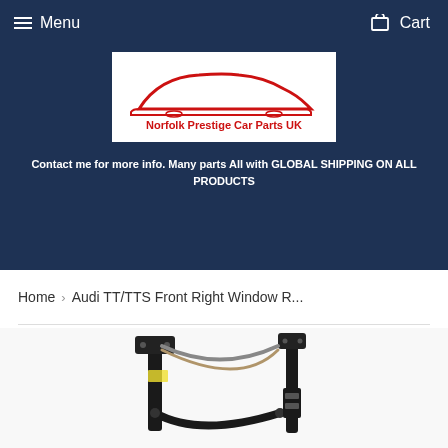Menu    Cart
[Figure (logo): Norfolk Prestige Car Parts UK logo with a red car silhouette outline over the brand name text in red]
Contact me for more info. Many parts All with GLOBAL SHIPPING ON ALL PRODUCTS
Home › Audi TT/TTS Front Right Window R...
[Figure (photo): Audi TT/TTS front right window regulator mechanism showing black metal frame and cable assembly]